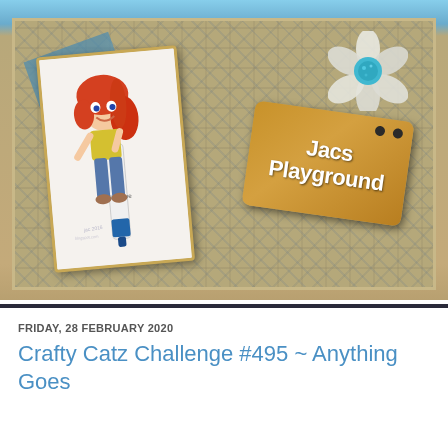[Figure (photo): A crafted scrapbook layout showing a handmade card with a cartoon girl holding a marker, a cork tag reading 'Jacs Playground', a flower embellishment, blue ribbon/mesh, and a background of collaged postage stamps and papers.]
FRIDAY, 28 FEBRUARY 2020
Crafty Catz Challenge #495 ~ Anything Goes